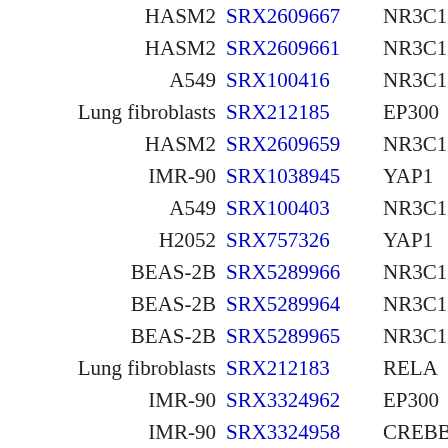| Cell/Tissue | SRX ID | Factor |  |
| --- | --- | --- | --- |
| HASM2 | SRX2609667 | NR3C1 |  |
| HASM2 | SRX2609661 | NR3C1 |  |
| A549 | SRX100416 | NR3C1 |  |
| Lung fibroblasts | SRX212185 | EP300 |  |
| HASM2 | SRX2609659 | NR3C1 |  |
| IMR-90 | SRX1038945 | YAP1 |  |
| A549 | SRX100403 | NR3C1 |  |
| H2052 | SRX757326 | YAP1 |  |
| BEAS-2B | SRX5289966 | NR3C1 |  |
| BEAS-2B | SRX5289964 | NR3C1 |  |
| BEAS-2B | SRX5289965 | NR3C1 |  |
| Lung fibroblasts | SRX212183 | RELA |  |
| IMR-90 | SRX3324962 | EP300 |  |
| IMR-90 | SRX3324958 | CREBBP |  |
| IMR-90 | SRX150598 | CEBPB |  |
| H2052 | SRX757325 | YAP1 |  |